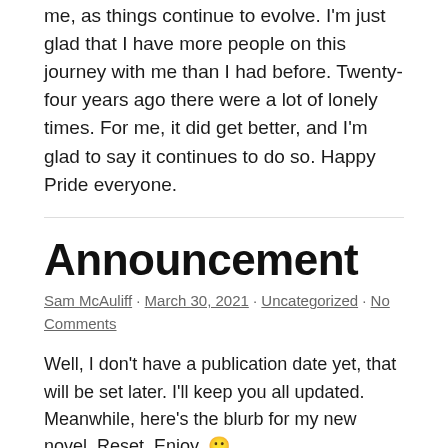me, as things continue to evolve. I'm just glad that I have more people on this journey with me than I had before. Twenty-four years ago there were a lot of lonely times. For me, it did get better, and I'm glad to say it continues to do so. Happy Pride everyone.
Announcement
Sam McAuliff · March 30, 2021 · Uncategorized · No Comments
Well, I don't have a publication date yet, that will be set later. I'll keep you all updated. Meanwhile, here's the blurb for my new novel, Reset. Enjoy. 🙂
Have you ever made a choice you later regret? Or witnessed an experience you wish you had the power to change? What if there was a company that promised you